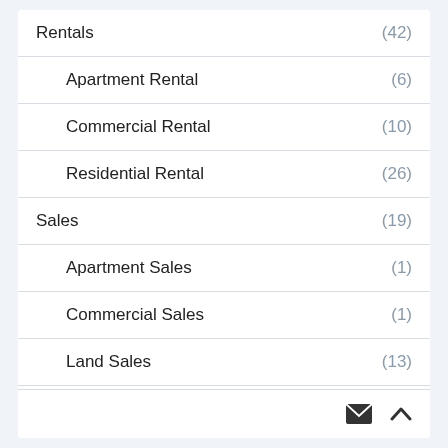Rentals (42)
Apartment Rental (6)
Commercial Rental (10)
Residential Rental (26)
Sales (19)
Apartment Sales (1)
Commercial Sales (1)
Land Sales (13)
Residential Sales (5)